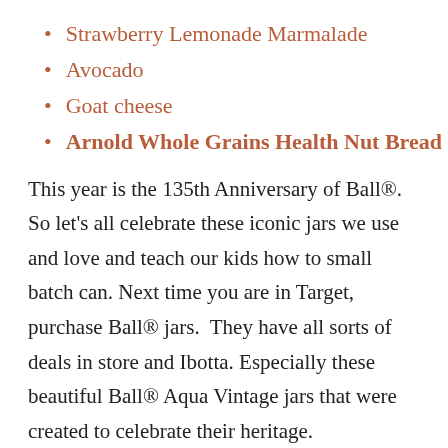Strawberry Lemonade Marmalade
Avocado
Goat cheese
Arnold Whole Grains Health Nut Bread
This year is the 135th Anniversary of Ball®. So let's all celebrate these iconic jars we use and love and teach our kids how to small batch can. Next time you are in Target, purchase Ball® jars.  They have all sorts of deals in store and Ibotta. Especially these beautiful Ball® Aqua Vintage jars that were created to celebrate their heritage.
Fun fact: In 1880 Frank and Edmund Ball purchased the Wooden Jacket Can Company for $200 they borrowed. Now that's a good ROI